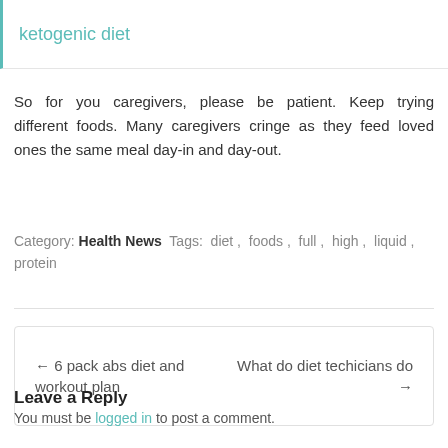ketogenic diet
So for you caregivers, please be patient. Keep trying different foods. Many caregivers cringe as they feed loved ones the same meal day-in and day-out.
Category: Health News Tags: diet , foods , full , high , liquid , protein
← 6 pack abs diet and workout plan    What do diet techicians do →
Leave a Reply
You must be logged in to post a comment.